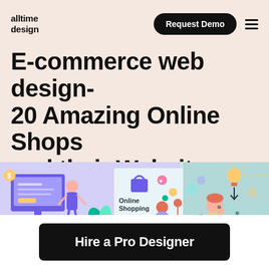alltime design
Request Demo
E-commerce web design- 20 Amazing Online Shops and their Website designs
[Figure (illustration): Colorful illustrations showing e-commerce and online shopping themes: a person next to a large monitor with UI elements, an 'Online Shopping' graphic, a person with shopping elements, and on the right a person thinking with a lightbulb idea graphic on a teal background.]
Hire a Pro Designer